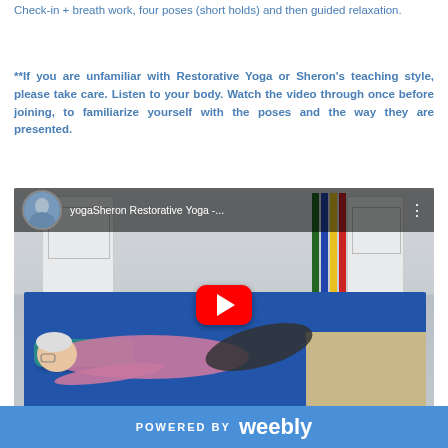Check-in + breath work, four poses (short holds) and then guided relaxation.
**If you are unfamiliar with Restorative Yoga or Sheron's teaching style, please take care. Listen to your body. Watch the video through once before joining, to familiarize yourself with the poses and the way they are presented.
[Figure (screenshot): YouTube video thumbnail showing a woman lying on a blue yoga mat with a teal bolster in a studio room, with channel name 'yogaSheron Restorative Yoga -...' and a red YouTube play button in the center.]
POWERED BY weebly